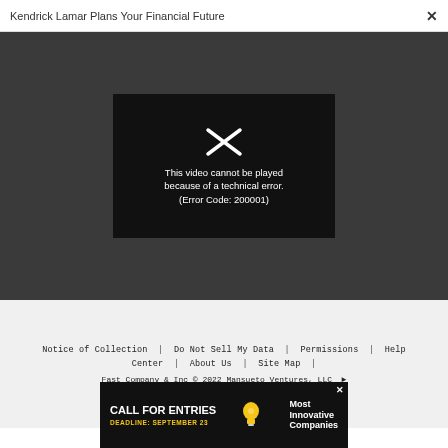Kendrick Lamar Plans Your Financial Future  ×
[Figure (screenshot): Video player showing error: 'This video cannot be played because of a technical error. (Error Code: 200001)' on a dark background with a broken play icon.]
Notice of Collection | Do Not Sell My Data | Permissions | Help Center | About Us | Site Map | Fast Company & Inc © 2022 Mansueto Ventures, LLC
[Figure (infographic): Advertisement banner: 'CALL FOR ENTRIES DEADLINE: SEPTEMBER 23' with lightbulb icon and text 'Most Innovative Companies' on dark background.]